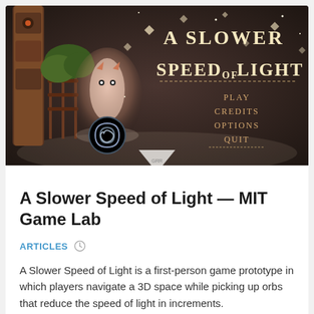[Figure (screenshot): Screenshot of 'A Slower Speed of Light' game title screen. Dark brownish background with sparkling lights/diamonds. Left side shows a totem pole, wooden fence, a glowing ghost-like character, and a swirled orb on the ground. Right side shows the game title 'A SLOWER SPEED OF LIGHT' in glowing letters, with a menu showing PLAY, CREDITS, OPTIONS, QUIT.]
A Slower Speed of Light — MIT Game Lab
ARTICLES
A Slower Speed of Light is a first-person game prototype in which players navigate a 3D space while picking up orbs that reduce the speed of light in increments.